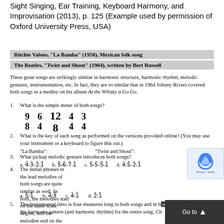Ensign, Aural Skills in Context: A Comprehensive Approach to Sight Singing, Ear Training, Keyboard Harmony, and Improvisation (2013), p. 125 (Example used by permission of Oxford University Press, USA)
| Ritchie Valens, "La Bamba" (1958), Mexican folk song |
| The Beatles, "Twist and Shout" (1964), written by Bert Russell |
These great songs are strikingly similar in harmonic structure, harmonic rhythm, melodic gestures, instrumentation, etc. In fact, they are so similar that in 1964 Johnny Rivers covered both songs in a medley on his album At the Whisky à Go Go.
1. What is the simple meter of both songs?
[Figure (other): Five time signatures: 9/8, 6/4, 12/8, 4/4, 3/4]
2. What is the key of each song as performed on the versions provided online? (You may use your instrument or a keyboard to figure this out.) "La Bamba": "Twist and Shout":
3. What pickup melodic gesture introduces both songs? a. 4̂-3̂-2̂-1̂  b. 5̂-6̂-7̂-1̂  c. 5̂-5̂-5̂-1̂  d. 4̂-5̂-2̂-1̂
4. The initial phrases in the lead melodies of both songs are quite similar as well. In both, the melodies start on the same scale degree, and the melodies end on the same scale degree. Choose the starting and ending scale degrees from the options below. a. 5̂/1̂  b. 4̂/3̂  c. 4̂/1̂  d. 2̂/1̂
5. The instrumental intro is four measures long in both songs and in both establishes the harmonic pattern (and harmonic rhythm) for the entire song. Ch...